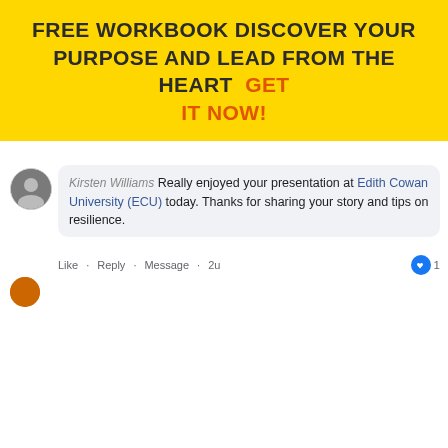FREE WORKBOOK DISCOVER YOUR PURPOSE AND LEAD FROM THE HEART  GET IT NOW!
[Figure (screenshot): A Facebook comment screenshot showing a user named Kirsten Williams commenting: 'Really enjoyed your presentation at Edith Cowan University (ECU) today. Thanks for sharing your story and tips on resilience.' with 1 like, and action links Like · Reply · Message · 2u]